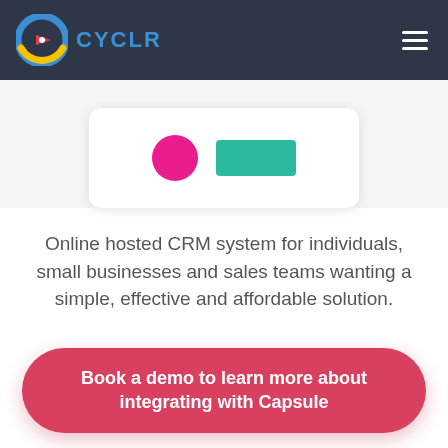CYCLR
[Figure (screenshot): Partial screenshot of a CRM interface card showing a pink circle and teal rectangle on white background]
Online hosted CRM system for individuals, small businesses and sales teams wanting a simple, effective and affordable solution.
Book a demo to learn more about integrating with Capsule